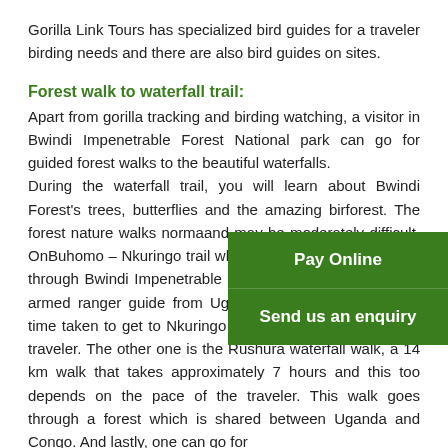Gorilla Link Tours has specialized bird guides for a traveler birding needs and there are also bird guides on sites.
Forest walk to waterfall trail:
Apart from gorilla tracking and birding watching, a visitor in Bwindi Impenetrable Forest National park can go for guided forest walks to the beautiful waterfalls. During the waterfall trail, you will learn about Bwindi Forest's trees, butterflies and the amazing bir... forest. The forest nature walks norma... and may be moderately difficult. On... Buhomo – Nkuringo trail which takes about 9-11 hours, through Bwindi Impenetrable Forest National park with an armed ranger guide from Uganda Wildlife Authority. The time taken to get to Nkuringo depends on the pace of the traveler. The other one is the Rushura waterfall walk, a 14 km walk that takes approximately 7 hours and this too depends on the pace of the traveler. This walk goes through a forest which is shared between Uganda and Congo. And lastly, one can go for
Pay Online
Send us an enquiry